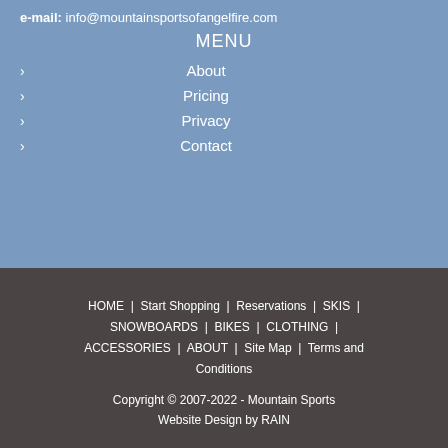e-mail: info@mountainsportsofangelfire.com
MENU
About
Pricing
Privacy
Contact
HOME | Start Shopping | Reservations | SKIS | SNOWBOARDS | BIKES | CLOTHING | ACCESSORIES | ABOUT | Site Map | Terms and Conditions
Copyright © 2007-2022 - Mountain Sports Website Design by RAIN